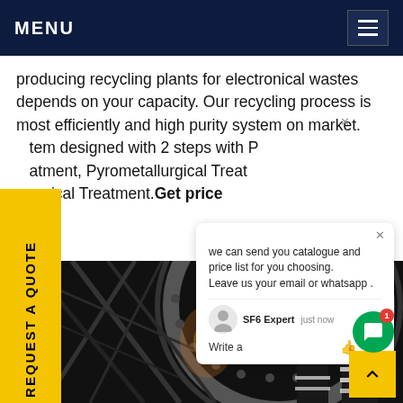MENU
producing recycling plants for electronical wastes depends on your capacity. Our recycling process is most efficiently and high purity system on market. tem designed with 2 steps with P atment, Pyrometallurgical Treat emical Treatment.Get price
[Figure (screenshot): Website screenshot showing a dark industrial photo of a large circular industrial machine with a worker in reflective gear. A yellow 'REQUEST A QUOTE' vertical sidebar label is on the left. A chat popup is visible in the right area showing: 'we can send you catalogue and price list for you choosing. Leave us your email or whatsapp.' with SF6 Expert agent and 'just now' timestamp. A green circular chat button with notification badge '1' is visible. A yellow back-to-top arrow button is in the bottom right.]